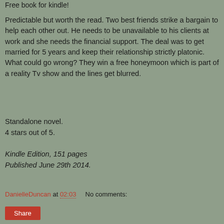Free book for kindle!
Predictable but worth the read. Two best friends strike a bargain to help each other out. He needs to be unavailable to his clients at work and she needs the financial support. The deal was to get married for 5 years and keep their relationship strictly platonic. What could go wrong? They win a free honeymoon which is part of a reality Tv show and the lines get blurred.
Standalone novel.
4 stars out of 5.
Kindle Edition, 151 pages
Published June 29th 2014.
DanielleDuncan at 02:03    No comments:
Share